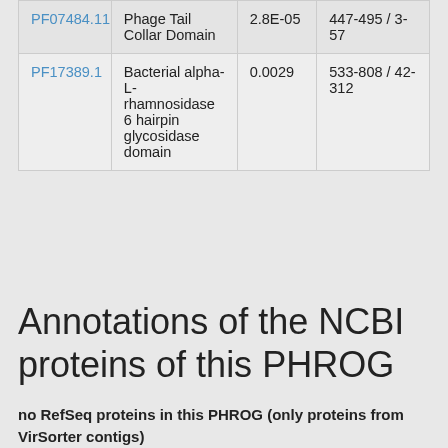| PF07484.11 | Phage Tail Collar Domain | 2.8E-05 | 447-495 / 3-57 |
| PF17389.1 | Bacterial alpha-L-rhamnosidase 6 hairpin glycosidase domain | 0.0029 | 533-808 / 42-312 |
Annotations of the NCBI proteins of this PHROG
no RefSeq proteins in this PHROG (only proteins from VirSorter contigs)